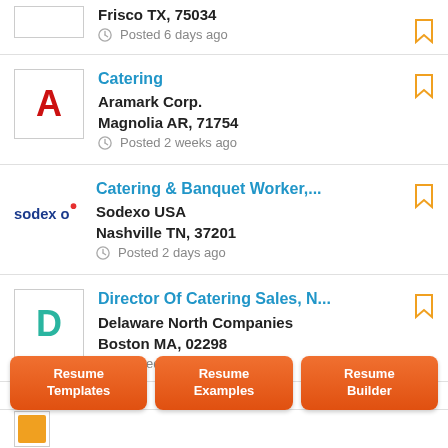Frisco TX, 75034
Posted 6 days ago
[Figure (logo): Aramark Corp. logo placeholder: red letter A]
Catering
Aramark Corp.
Magnolia AR, 71754
Posted 2 weeks ago
[Figure (logo): Sodexo logo in blue and red]
Catering & Banquet Worker,...
Sodexo USA
Nashville TN, 37201
Posted 2 days ago
[Figure (logo): Delaware North Companies placeholder: teal letter D]
Director Of Catering Sales, N...
Delaware North Companies
Boston MA, 02298
Posted 3 days ago
Resume Templates
Resume Examples
Resume Builder